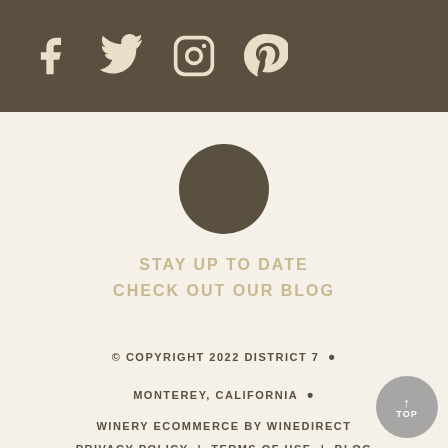[Figure (illustration): Social media icons bar with Facebook, Twitter, Instagram, and Pinterest icons on a dark brown/olive background]
[Figure (logo): Dark brown circular logo/emblem]
STAY UP TO DATE
CHECK OUT OUR BLOG
© COPYRIGHT 2022 DISTRICT 7 • MONTEREY, CALIFORNIA • WINERY ECOMMERCE BY WINEDIRECT PRIVACY POLICY | TERMS OF USE | BLOG CONTACT US | EMAIL NEWSLETTER SIGN UP